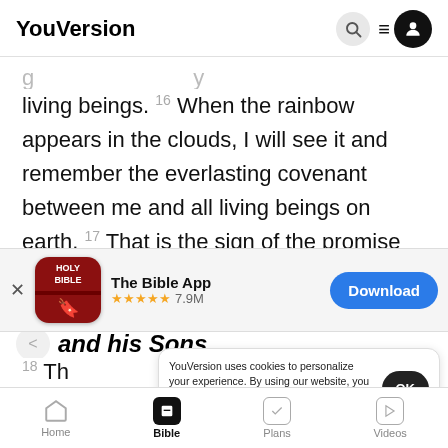YouVersion
living beings. 16 When the rainbow appears in the clouds, I will see it and remember the everlasting covenant between me and all living beings on earth. 17 That is the sign of the promise which I am
[Figure (screenshot): App download banner for The Bible App, showing Holy Bible icon, star rating 7.9M, and Download button]
and his Sons
18 Th
were Shem, Ham, and Japheth. (Ham was the
YouVersion uses cookies to personalize your experience. By using our website, you accept our use of cookies as described in our Privacy Policy.
Home  Bible  Plans  Videos